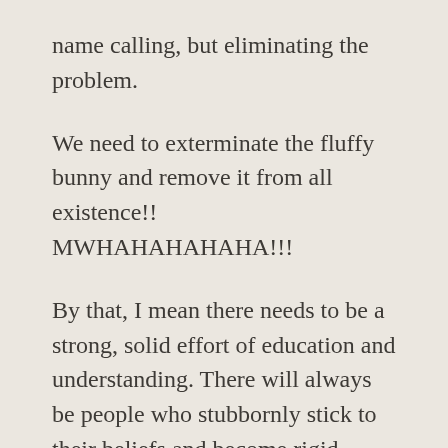name calling, but eliminating the problem.
We need to exterminate the fluffy bunny and remove it from all existence!! MWHAHAHAHAHA!!!
By that, I mean there needs to be a strong, solid effort of education and understanding. There will always be people who stubbornly stick to their beliefs and become rigid fundamentalists. All religious groups and all systems of belief and faith attract these people. Fluffy bunnies need to do some